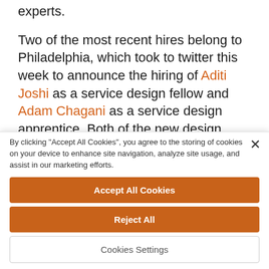experts.
Two of the most recent hires belong to Philadelphia, which took to twitter this week to announce the hiring of Aditi Joshi as a service design fellow and Adam Chagani as a service design apprentice. Both of the new design hires will work with the Philadelphia's Design lab's service design team on the city's ongoing
By clicking "Accept All Cookies", you agree to the storing of cookies on your device to enhance site navigation, analyze site usage, and assist in our marketing efforts.
Accept All Cookies
Reject All
Cookies Settings